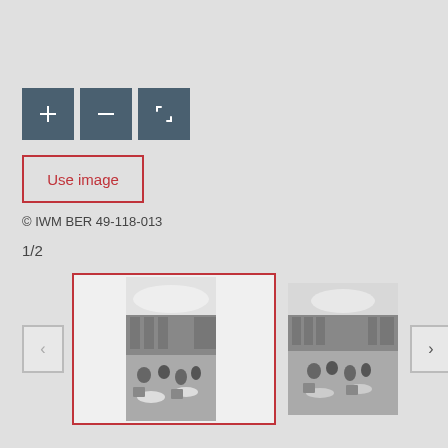[Figure (screenshot): Three toolbar buttons: '+' zoom in (dark teal), '-' zoom out (dark teal), and a fullscreen icon (dark teal)]
[Figure (screenshot): A red-outlined 'Use image' button]
© IWM BER 49-118-013
1/2
[Figure (photo): A black and white photograph of a restaurant or cafeteria interior with people seated at tables, shown in two thumbnail views — one selected (with red border) and one unselected. Navigation arrows on both sides.]